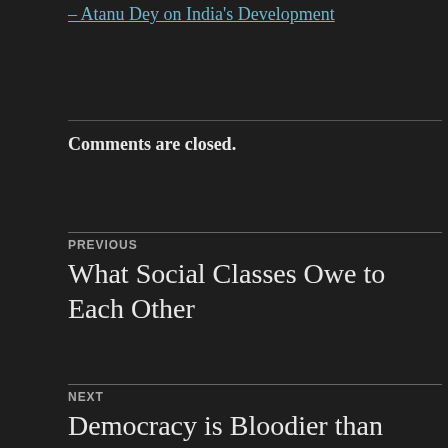– Atanu Dey on India's Development
Comments are closed.
PREVIOUS
What Social Classes Owe to Each Other
NEXT
Democracy is Bloodier than Monarchy or Aristocracy